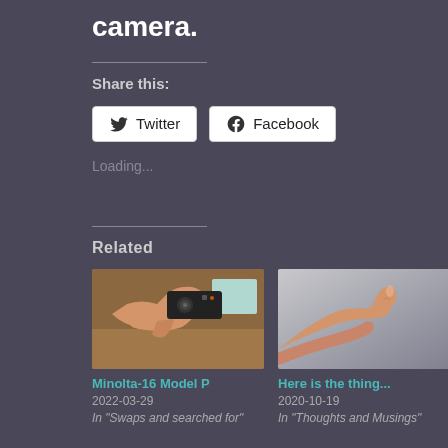camera.
Share this:
[Figure (other): Twitter share button]
[Figure (other): Facebook share button]
Loading...
Related
[Figure (photo): Hand holding a Minolta-16 Model P camera]
Minolta-16 Model P
2022-03-29
In "Swaps and searched for"
[Figure (photo): Hand giving thumbs up gesture]
Here is the thing...
2020-10-19
In "Thoughts and Musings"